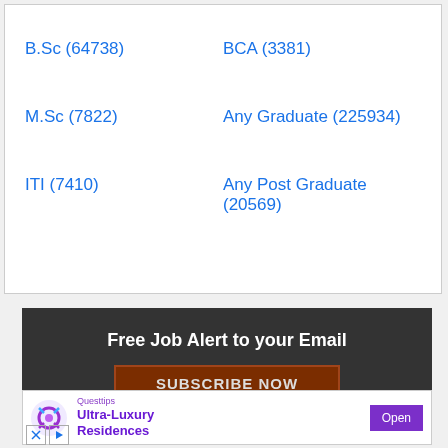B.Sc (64738)
BCA (3381)
M.Sc (7822)
Any Graduate (225934)
ITI (7410)
Any Post Graduate (20569)
Free Job Alert to your Email
SUBSCRIBE NOW
[Figure (infographic): Advertisement banner: Questtips - Ultra-Luxury Residences with Open button]